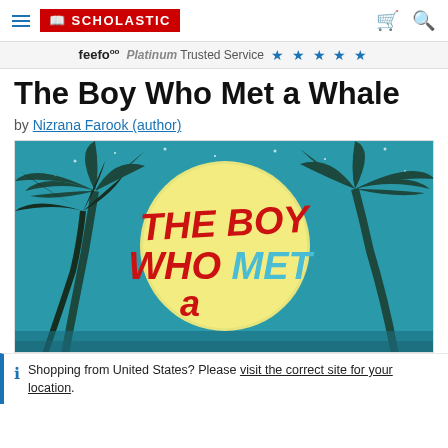SCHOLASTIC
feefo Platinum Trusted Service ★ ★ ★ ★ ★
The Boy Who Met a Whale
by Nizrana Farook (author)
[Figure (illustration): Book cover of 'The Boy Who Met a Whale' showing tropical night scene with palm trees silhouetted against a large yellow moon on a teal background, with red and blue lettering]
Shopping from United States? Please visit the correct site for your location.